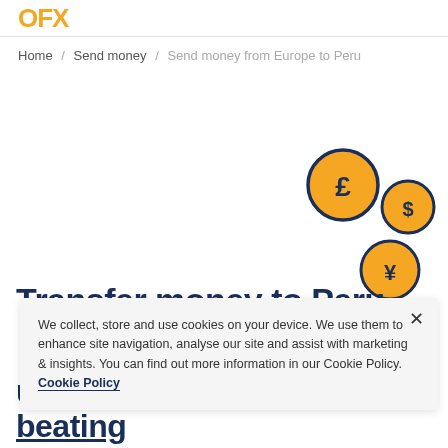OFX
Home / Send money / Send money from Europe to Peru
[Figure (illustration): Three circular coin icons with currency symbols: pound (£), dollar ($), and yen (¥), each with an orange fill and dark navy border, floating in the upper right area of the page.]
Transfer money to Peru
We collect, store and use cookies on your device. We use them to enhance site navigation, analyse our site and assist with marketing & insights. You can find out more information in our Cookie Policy. Cookie Policy
using OFX and get bank-beating